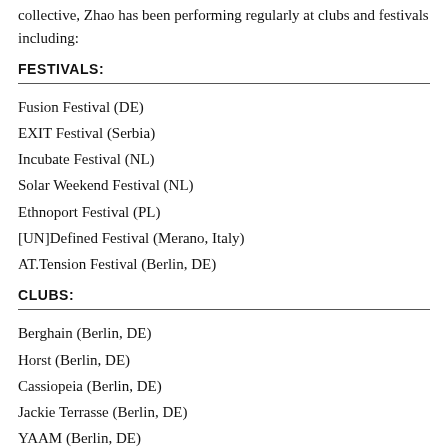collective, Zhao has been performing regularly at clubs and festivals including:
FESTIVALS:
Fusion Festival (DE)
EXIT Festival (Serbia)
Incubate Festival (NL)
Solar Weekend Festival (NL)
Ethnoport Festival (PL)
[UN]Defined Festival (Merano, Italy)
AT.Tension Festival (Berlin, DE)
CLUBS:
Berghain (Berlin, DE)
Horst (Berlin, DE)
Cassiopeia (Berlin, DE)
Jackie Terrasse (Berlin, DE)
YAAM (Berlin, DE)